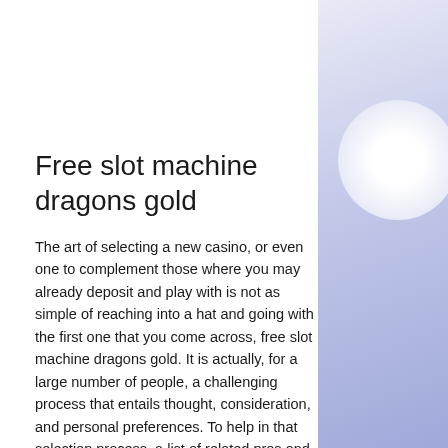Free slot machine dragons gold
The art of selecting a new casino, or even one to complement those where you may already deposit and play with is not as simple of reaching into a hat and going with the first one that you come across, free slot machine dragons gold. It is actually, for a large number of people, a challenging process that entails thought, consideration, and personal preferences. To help in that selection process, a list of related pros and cons of Betfred is offered below. Respectable range of casino games from